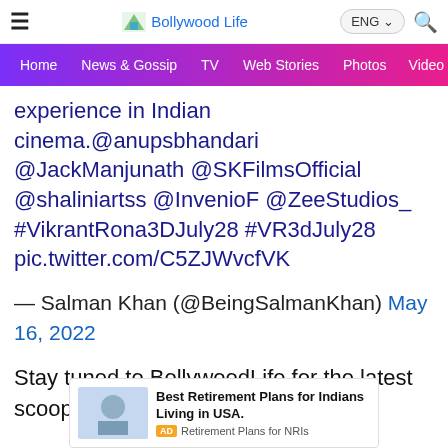Bollywood Life
Home  News & Gossip  TV  Web Stories  Photos  Video
experience in Indian cinema.@anupsbhandari @JackManjunath @SKFilmsOfficial @shaliniartss @InvenioF @ZeeStudios_ #VikrantRona3DJuly28 #VR3dJuly28 pic.twitter.com/C5ZJWvcfVK
— Salman Khan (@BeingSalmanKhan) May 16, 2022
Stay tuned to BollywoodLife for the latest scoops and updates from Bollywood,
[Figure (screenshot): Advertisement banner for Best Retirement Plans for Indians Living in USA by Retirement Plans for NRIs]